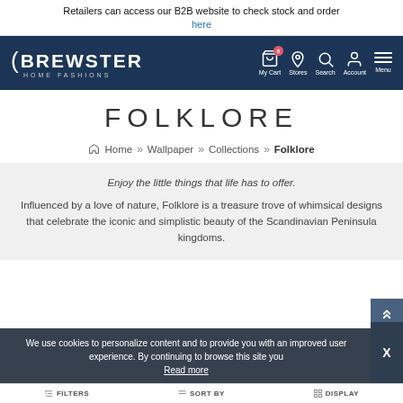Retailers can access our B2B website to check stock and order here
[Figure (screenshot): Brewster Home Fashions navigation header with logo, cart, stores, search, account, and menu icons]
FOLKLORE
Home » Wallpaper » Collections » Folklore
Enjoy the little things that life has to offer. Influenced by a love of nature, Folklore is a treasure trove of whimsical designs that celebrate the iconic and simplistic beauty of the Scandinavian Peninsula kingdoms.
We use cookies to personalize content and to provide you with an improved user experience. By continuing to browse this site you Read more
FILTERS  SORT BY  DISPLAY